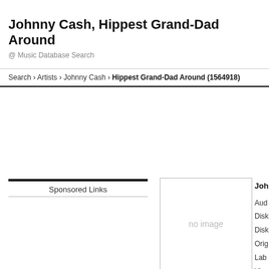Johnny Cash, Hippest Grand-Dad Around
@ Music Database Search
Search › Artists › Johnny Cash › Hippest Grand-Dad Around (1564918)
Sponsored Links
[Figure (other): Album art placeholder showing 'no image']
Joh
Aud
Disk
Disk
Orig
Lab
View